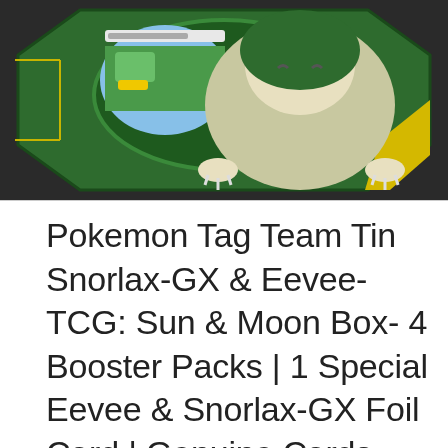[Figure (photo): Pokemon Tag Team Tin product image showing Snorlax-GX character on a dark green tin with yellow accents and a browser/game interface visible inside a circular screen on the tin.]
Pokemon Tag Team Tin Snorlax-GX & Eevee- TCG: Sun & Moon Box- 4 Booster Packs | 1 Special Eevee & Snorlax-GX Foil Card | Genuine Cards
#ad
As an Amazon Associate I earn from qualifying purchases. This website uses the only necessary cookies to ensure you get the best experience on our website. More information